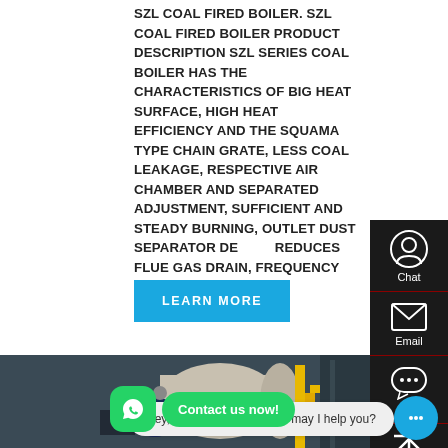SZL COAL FIRED BOILER. SZL COAL FIRED BOILER PRODUCT DESCRIPTION SZL SERIES COAL BOILER HAS THE CHARACTERISTICS OF BIG HEAT SURFACE, HIGH HEAT EFFICIENCY AND THE SQUAMA TYPE CHAIN GRATE, LESS COAL LEAKAGE, RESPECTIVE AIR CHAMBER AND SEPARATED ADJUSTMENT, SUFFICIENT AND STEADY BURNING, OUTLET DUST SEPARATOR DE REDUCES FLUE GAS DRAIN, FREQUENCY CONTR & DCS AUTO-CONTROL.
LEARN MORE
[Figure (photo): Industrial boiler equipment in a factory setting, showing a large cylindrical white/grey boiler unit with attached machinery, blue motor components, yellow gas pipes, and industrial infrastructure in the background.]
Contact us now!
Hey, we are live 24/7. How may I help you?